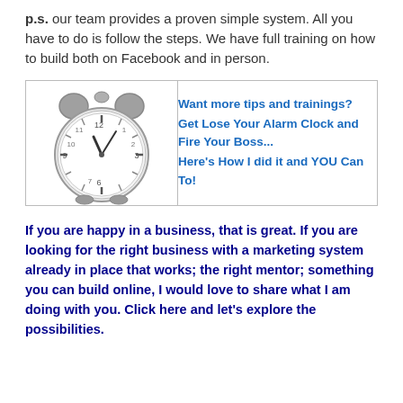p.s.  our team provides a proven simple system. All you have to do is follow the steps. We have full training on how to build both on Facebook and in person.
[Figure (other): A two-column box with a clock image on the left and promotional text on the right reading: Want more tips and trainings? Get Lose Your Alarm Clock and Fire Your Boss... Here's How I did it and YOU Can To!]
If you are happy in a business, that is great. If you are looking for the right business with a marketing system already in place that works; the right mentor; something you can build online, I would love to share what I am doing with you. Click here and let's explore the possibilities.